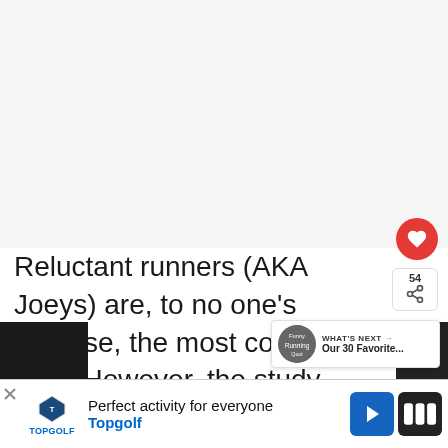[Figure (photo): Large image area at top of article page, appears blank/light gray in this crop]
Reluctant runners (AKA Joeys) are, to no one's surprise, the most common type. However, the study indicates that those who stick it out for longer than a year tend to evolve into a different type. You co...
[Figure (infographic): WHAT'S NEXT panel with thumbnail and text: Our 30 Favorite...]
[Figure (infographic): Bottom ad bar: Topgolf - Perfect activity for everyone, with navigation arrow icon and WW icon]